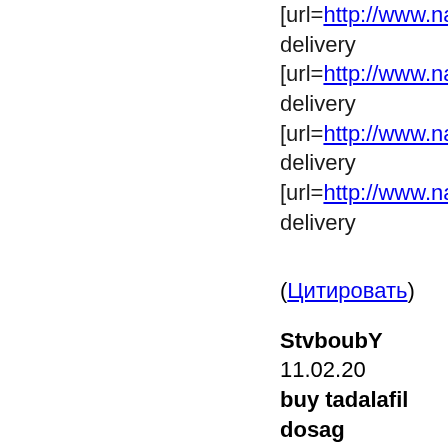[url=http://www.nat delivery [url=http://www.nat delivery [url=http://www.nat delivery [url=http://www.nat delivery
(Цитировать)
StvboubY 11.02.20 buy tadalafil dosag
у http://cialis24h.pa
(Цитировать)
russboy 11.02.2017 purchase Avanafil